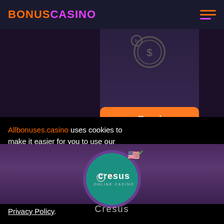BONUSCASINO
[Figure (screenshot): Casino chip with dollar sign icon on dark purple background]
Read more
[Figure (logo): Cresus Online Casino circular logo on teal background with US flag badge and green checkmark]
Cresus
Allbonuses.casino uses cookies to make it easier for you to use our website and gather analytics and improve the site. You agree to our use of cookies by clicking the "Allow Cookies" button or continuing to use our website. To find out more, see our Privacy Policy.
Allow Cookies